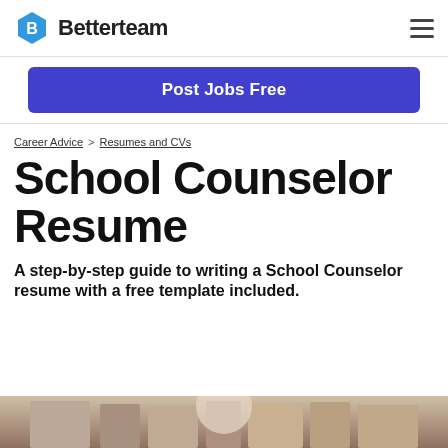Betterteam
Post Jobs Free
Career Advice > Resumes and CVs
School Counselor Resume
A step-by-step guide to writing a School Counselor resume with a free template included.
[Figure (photo): Bottom portion of a photo showing a school counselor or person in a library/bookshelf setting]